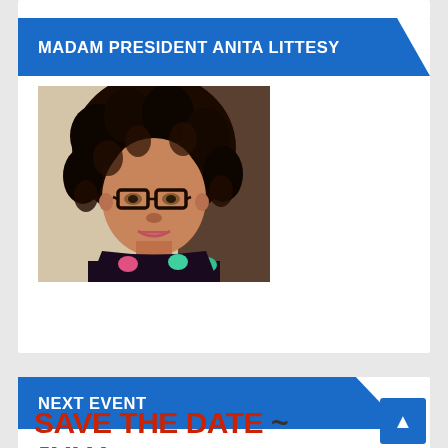MADAM PRESIDENT ANITA LITTESY
[Figure (photo): Portrait photo of Madam President Anita Littesy, a woman with curly dark hair and glasses, wearing a colorful floral blouse]
NEXT EVENT
SAVE THE DATE ~ July